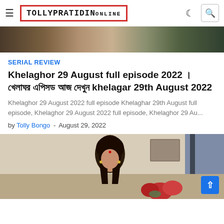TOLLYPRATIDIN.ONLINE
[Figure (photo): Top cropped image strip showing partial scene with people in colorful clothing]
SERIAL REVIEW
Khelaghor 29 August full episode 2022 । খেলাঘর এপিসড আজ দেখুন khelagar 29th August 2022
Khelaghor 29 August 2022 full episode Khelaghar 29th August full episode, Khelaghor 29 August 2022 full episode, Khelaghor 29 Au...
by Tolly Bongo - August 29, 2022
[Figure (photo): Photo of a young Indian woman with black curly hair wearing traditional jewelry, standing in an indoor setting with red flowers visible]